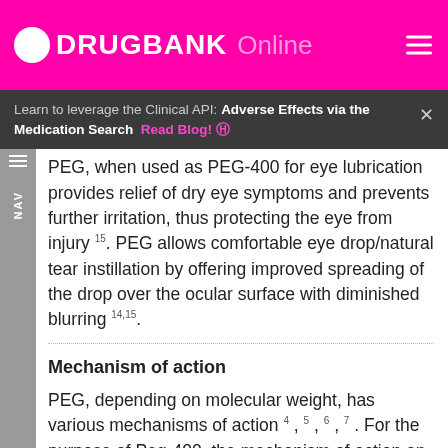DRUGBANK Online
Learn to leverage the Clinical API: Adverse Effects via the Medication Search Read Blog!
PEG, when used as PEG-400 for eye lubrication provides relief of dry eye symptoms and prevents further irritation, thus protecting the eye from injury 15. PEG allows comfortable eye drop/natural tear instillation by offering improved spreading of the drop over the ocular surface with diminished blurring 14,15.
Mechanism of action
PEG, depending on molecular weight, has various mechanisms of action 4, 5, 6, 7. For the purpose of Peg-400, the mechanism of action on the eye tissues will be the primary focus of discussion.
PEG-400 is considered a lacrimomimetic, or a synthetic ocular lubricant that improves one or more